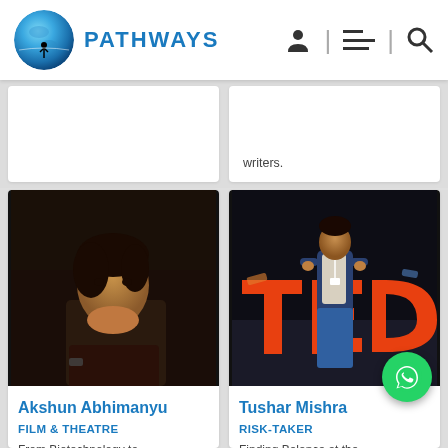PATHWAYS
writers.
[Figure (photo): Portrait photo of Akshun Abhimanyu, a young man in dark clothing against a dark background]
Akshun Abhimanyu
FILM & THEATRE
From Biotechnology to Theatre and...
[Figure (photo): Photo of Tushar Mishra speaking at a TED event, standing in front of large orange TED letters on stage]
Tushar Mishra
RISK-TAKER
Finding Balance at the Edge of C...